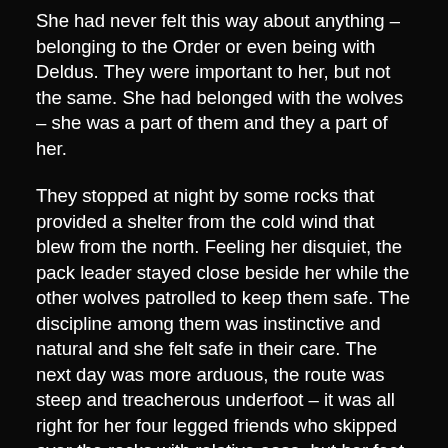She had never felt this way about anything – belonging to the Order or even being with Deldus. They were important to her, but not the same. She had belonged with the wolves – she was a part of them and they a part of her.
They stopped at night by some rocks that provided a shelter from the cold wind that blew from the north. Feeling her disquiet, the pack leader stayed close beside her while the other wolves patrolled to keep them safe. The discipline among them was instinctive and natural and she felt safe in their care. The next day was more arduous, the route was steep and treacherous underfoot – it was all right for her four legged friends who skipped over the rocks with relative ease, but her feet were sore and her legs ached and the desire for Ambre to dull the pain grew stronger as the path grew steeper. Eventually the reached a rocky plateau with an astonishing view over the forest below stretching into the misty distance. She knew that somewhere down there was Zethus and her home but it also contained the den of the wolf pack, her other home.
The wind was cold and sharp at this exposed altitude and the